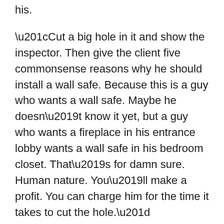his.
“Cut a big hole in it and show the inspector. Then give the client five commonsense reasons why he should install a wall safe. Because this is a guy who wants a wall safe. Maybe he doesn’t know it yet, but a guy who wants a fireplace in his entrance lobby wants a wall safe in his bedroom closet. That’s for damn sure. Human nature. You’ll make a profit. You can charge him for the time it takes to cut the hole.”
“Are you in this business, too?”
“I was a military cop.”
The guy said, “Huh.”
Reacher opened the door and climbed out, and